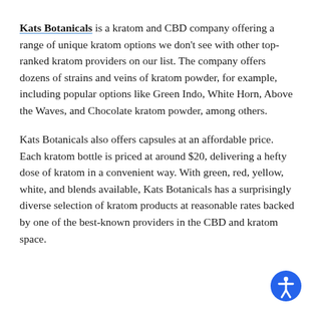Kats Botanicals is a kratom and CBD company offering a range of unique kratom options we don't see with other top-ranked kratom providers on our list. The company offers dozens of strains and veins of kratom powder, for example, including popular options like Green Indo, White Horn, Above the Waves, and Chocolate kratom powder, among others.
Kats Botanicals also offers capsules at an affordable price. Each kratom bottle is priced at around $20, delivering a hefty dose of kratom in a convenient way. With green, red, yellow, white, and blends available, Kats Botanicals has a surprisingly diverse selection of kratom products at reasonable rates backed by one of the best-known providers in the CBD and kratom space.